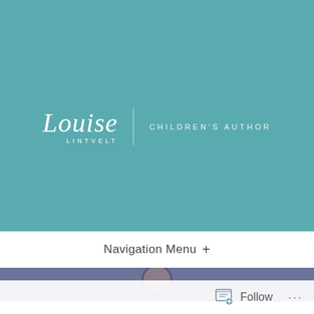[Figure (logo): Louise Lintvelt Children's Author logo on teal background. Script font shows 'Louise' with 'LINTVELT' below in small caps. Vertical divider line separates from 'CHILDREN'S AUTHOR' tagline in spaced caps.]
Navigation Menu +
[Figure (photo): Partial image of a child's figure on a muted blue-purple background, only the top of the head visible.]
Follow ...